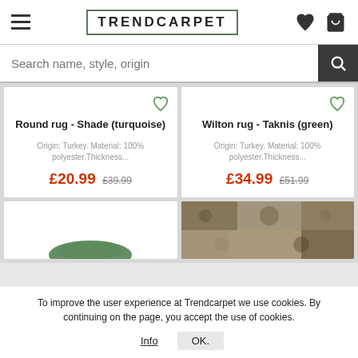TRENDCARPET
Search name, style, origin
Round rug - Shade (turquoise)
Origin: Turkey. Material: 100% polyester.Thickness...
£20.99  £39.99
Wilton rug - Taknis (green)
Origin: Turkey. Material: 100% polyester.Thickness...
£34.99  £51.99
[Figure (photo): Partial view of a green round rug]
[Figure (photo): Partial view of a patterned rug]
To improve the user experience at Trendcarpet we use cookies. By continuing on the page, you accept the use of cookies.